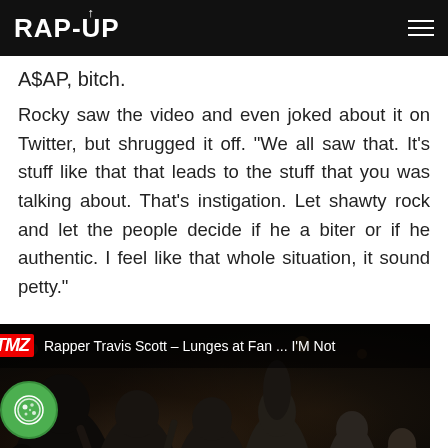RAP-UP
A$AP, bitch.
Rocky saw the video and even joked about it on Twitter, but shrugged it off. “We all saw that. It’s stuff like that that leads to the stuff that you was talking about. That’s instigation. Let shawty rock and let the people decide if he a biter or if he authentic. I feel like that whole situation, it sound petty.”
[Figure (screenshot): TMZ video thumbnail showing a dark nightclub crowd scene with the overlay text: Rapper Travis Scott – Lunges at Fan ... I'M Not. A green cookie/consent icon is overlaid on the bottom-left.]